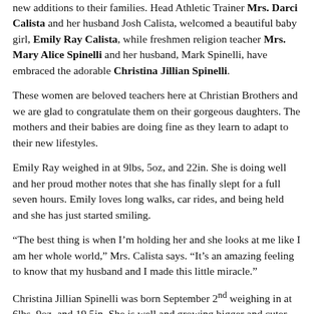new additions to their families. Head Athletic Trainer Mrs. Darci Calista and her husband Josh Calista, welcomed a beautiful baby girl, Emily Ray Calista, while freshmen religion teacher Mrs. Mary Alice Spinelli and her husband, Mark Spinelli, have embraced the adorable Christina Jillian Spinelli.
These women are beloved teachers here at Christian Brothers and we are glad to congratulate them on their gorgeous daughters. The mothers and their babies are doing fine as they learn to adapt to their new lifestyles.
Emily Ray weighed in at 9lbs, 5oz, and 22in. She is doing well and her proud mother notes that she has finally slept for a full seven hours. Emily loves long walks, car rides, and being held and she has just started smiling.
“The best thing is when I’m holding her and she looks at me like I am her whole world,” Mrs. Calista says. “It’s an amazing feeling to know that my husband and I made this little miracle.”
Christina Jillian Spinelli was born September 2nd weighing in at 6lbs, 9oz, and 19.5in. She is well and growing bigger and cuter every day. Christina is already displaying adorable traits. She loves to cuddle and bury her head into her parents’ neck. Surprisingly her mother says she also has a stubborn side.